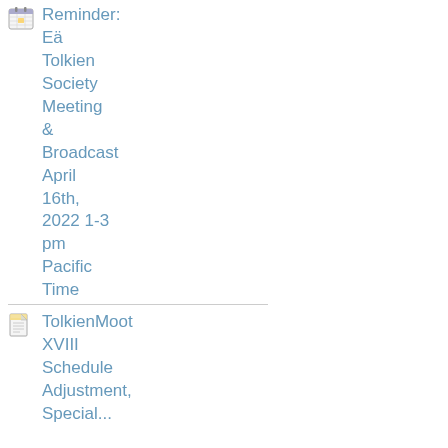Reminder: Eä Tolkien Society Meeting & Broadcast April 16th, 2022 1-3 pm Pacific Time
TolkienMoot XVIII Schedule Adjustment, Special...